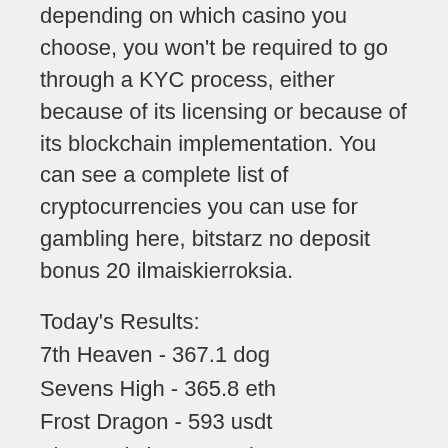depending on which casino you choose, you won't be required to go through a KYC process, either because of its licensing or because of its blockchain implementation. You can see a complete list of cryptocurrencies you can use for gambling here, bitstarz no deposit bonus 20 ilmaiskierroksia.
Today's Results:
7th Heaven - 367.1 dog
Sevens High - 365.8 eth
Frost Dragon - 593 usdt
Zhao Cai Jin Bao Jackpot - 705.5 usdt
Belissimo - 634.1 btc
Scrolls of RA - 549.5 eth
Esmeralda - 369.7 bch
Underwater World - 18.1 dog
Great Reef - 392.8 eth
Wild Wishes - 669.5 usdt
Dragon Lines - 629.4 bch
Funky Fruits - 184.9 dog